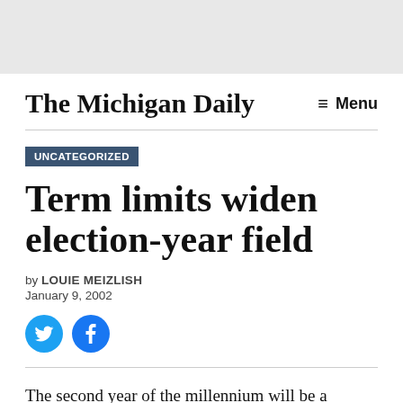The Michigan Daily
UNCATEGORIZED
Term limits widen election-year field
by LOUIE MEIZLISH
January 9, 2002
[Figure (other): Twitter and Facebook share icons (blue circular buttons)]
The second year of the millennium will be a